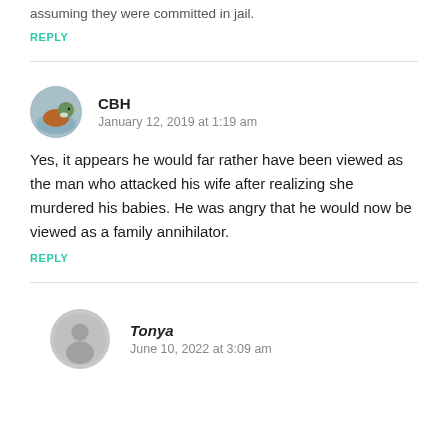assuming they were committed in jail.
REPLY
CBH
January 12, 2019 at 1:19 am
Yes, it appears he would far rather have been viewed as the man who attacked his wife after realizing she murdered his babies. He was angry that he would now be viewed as a family annihilator.
REPLY
Tonya
June 10, 2022 at 3:09 am